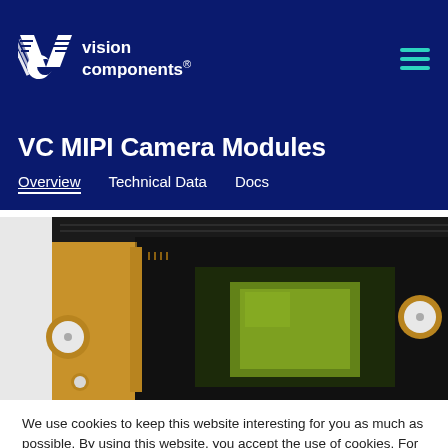[Figure (logo): Vision Components logo with VC initials and text 'vision components®' on dark navy background with hamburger menu icon]
VC MIPI Camera Modules
Overview   Technical Data   Docs
[Figure (photo): Close-up photo of a VC MIPI camera module PCB with gold board, black sensor area, green chip, and mounting holes]
We use cookies to keep this website interesting for you as much as possible. By using this website, you accept the use of cookies. For more information, please visit our Privacy policy.
OK